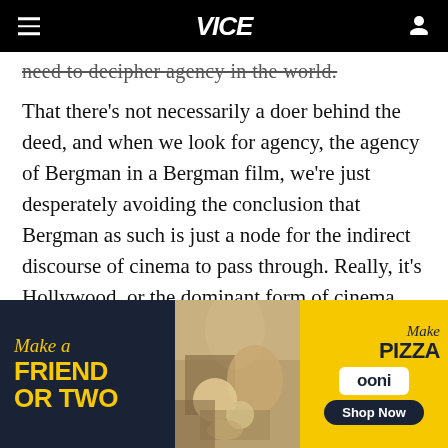VICE
need to decipher agency in the world.
That there's not necessarily a doer behind the deed, and when we look for agency, the agency of Bergman in a Bergman film, we're just desperately avoiding the conclusion that Bergman as such is just a node for the indirect discourse of cinema to pass through. Really, it's Hollywood, or the dominant form of cinema, conceived as a totality, coursing through these
[Figure (advertisement): Ooni pizza advertisement. Left dark section with yellow text: 'Make a FRIEND OR TWO'. Center: photo of people and a dog at a picnic with a pizza. Right yellow section: 'Make Pizza', Ooni logo box, 'Shop Now' button.]